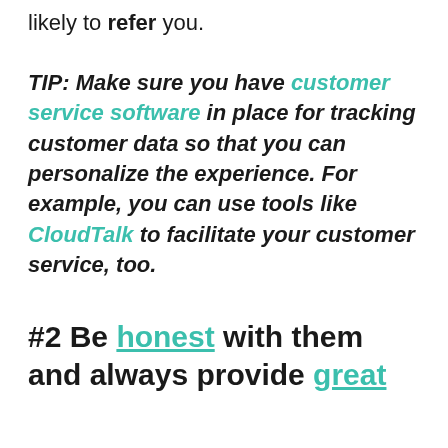likely to refer you.
TIP: Make sure you have customer service software in place for tracking customer data so that you can personalize the experience. For example, you can use tools like CloudTalk to facilitate your customer service, too.
#2 Be honest with them and always provide great